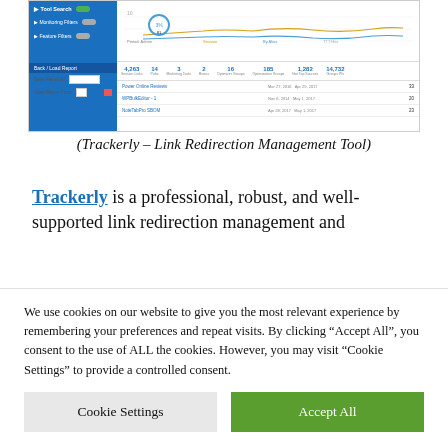[Figure (screenshot): Screenshot of Trackerly – Link Redirection Management Tool dashboard showing sidebar filters, analytics chart, statistics bar, and link listing rows.]
(Trackerly – Link Redirection Management Tool)
Trackerly is a professional, robust, and well-supported link redirection management and
We use cookies on our website to give you the most relevant experience by remembering your preferences and repeat visits. By clicking "Accept All", you consent to the use of ALL the cookies. However, you may visit "Cookie Settings" to provide a controlled consent.